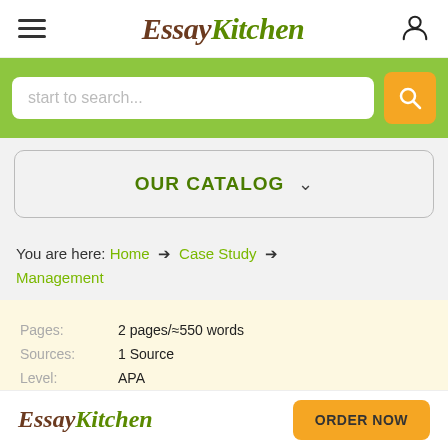EssayKitchen
[Figure (screenshot): Search bar with placeholder 'start to search...' and orange search button on green background]
OUR CATALOG ▼
You are here: Home → Case Study → Management
| Field | Value |
| --- | --- |
| Pages: | 2 pages/≈550 words |
| Sources: | 1 Source |
| Level: | APA |
EssayKitchen | ORDER NOW